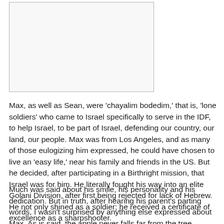[Figure (other): A blank or mostly white image placeholder with a thin border]
Max, as well as Sean, were 'chayalim bodedim,' that is, 'lone soldiers' who came to Israel specifically to serve in the IDF, to help Israel, to be part of Israel, defending our country, our land, our people. Max was from Los Angeles, and as many of those eulogizing him expressed, he could have chosen to live an 'easy life,' near his family and friends in the US. But he decided, after participating in a Birthright mission, that Israel was for him. He literally fought his way into an elite Golani Division, after first being rejected for lack of Hebrew. He not only shined as a soldier; he received a certificate of excellence as a sharpshooter.
Much was said about his smile, his personality and his dedication. But in truth, after hearing his parent's parting words, I wasn't surprised by anything else expressed about Max. As is said, the apple never falls far from the tree.